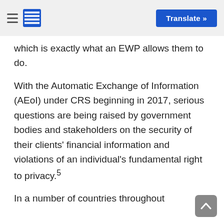Translate »
which is exactly what an EWP allows them to do.
With the Automatic Exchange of Information (AEoI) under CRS beginning in 2017, serious questions are being raised by government bodies and stakeholders on the security of their clients' financial information and violations of an individual's fundamental right to privacy.5
In a number of countries throughout